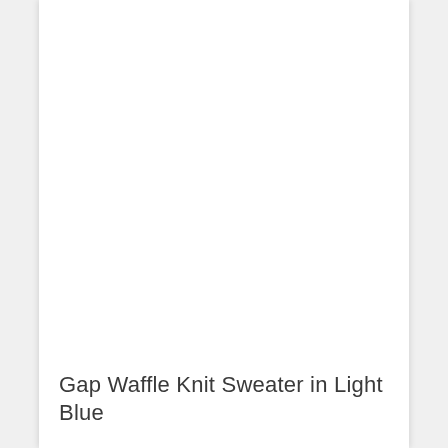[Figure (photo): White/blank product image area for Gap Waffle Knit Sweater in Light Blue]
Gap Waffle Knit Sweater in Light Blue